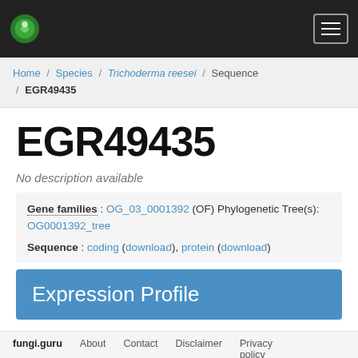fungi.guru navigation header with logo and menu
Home / Species / Trichoderma reesei / Sequence / EGR49435
EGR49435
No description available
Gene families : OG_03_0001392 (OF) Phylogenetic Tree(s): OG0001392_tree
Sequence : coding (download), protein (download)
Expression Profile
fungi.guru About Contact Disclaimer Privacy policy